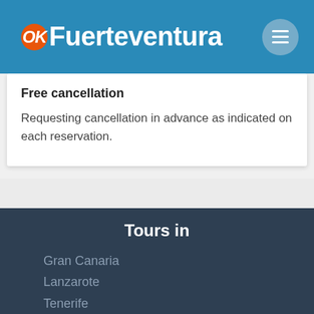[Figure (logo): OKFuerteventura logo on blue header with hamburger menu button]
Free cancellation
Requesting cancellation in advance as indicated on each reservation.
Tours in
Gran Canaria
Lanzarote
Tenerife
Madrid